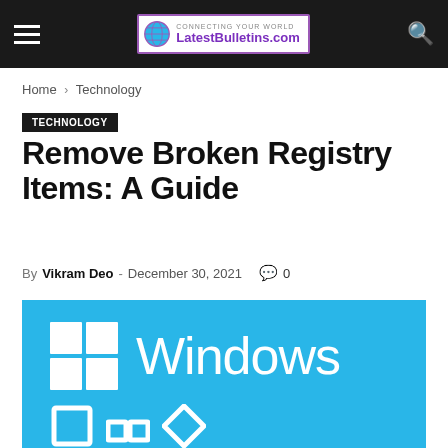LatestBulletins.com
Home › Technology
TECHNOLOGY
Remove Broken Registry Items: A Guide
By Vikram Deo - December 30, 2021  0
[Figure (screenshot): Windows logo on a cyan/blue background showing the Windows grid logo and 'Windows' text with partial Windows 11 taskbar icons below]